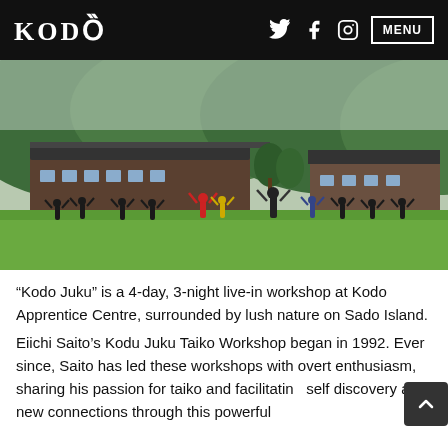KODO | MENU
[Figure (photo): Group of people doing exercises with arms raised on a grassy field, surrounded by traditional Japanese buildings and green forested hills in the background.]
“Kodo Juku” is a 4-day, 3-night live-in workshop at Kodo Apprentice Centre, surrounded by lush nature on Sado Island.
Eiichi Saito’s Kodu Juku Taiko Workshop began in 1992. Ever since, Saito has led these workshops with overt enthusiasm, sharing his passion for taiko and facilitating self discovery and new connections through this powerful